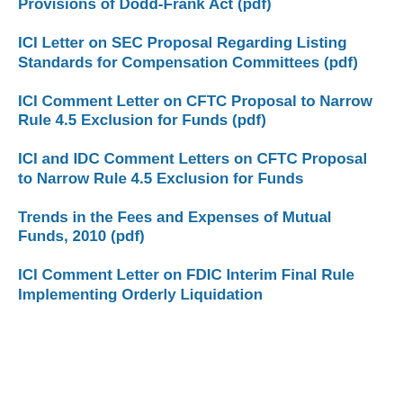Provisions of Dodd-Frank Act (pdf)
ICI Letter on SEC Proposal Regarding Listing Standards for Compensation Committees (pdf)
ICI Comment Letter on CFTC Proposal to Narrow Rule 4.5 Exclusion for Funds (pdf)
ICI and IDC Comment Letters on CFTC Proposal to Narrow Rule 4.5 Exclusion for Funds
Trends in the Fees and Expenses of Mutual Funds, 2010 (pdf)
ICI Comment Letter on FDIC Interim Final Rule Implementing Orderly Liquidation